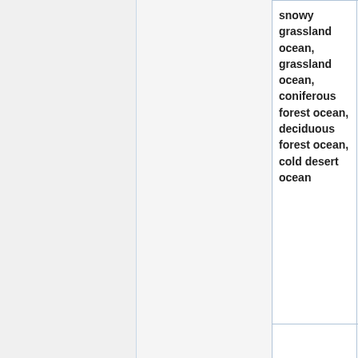| Biome | References | Description |
| --- | --- | --- |
| snowy grassland ocean, grassland ocean, coniferous forest ocean, deciduous forest ocean, cold desert ocean | 🔵, 🔵, 🔵🔵, 🔵, 🔵🔵

🔵🔵🔵 | Like the tundra ocean, but on the sand there grow occasional kelp. |
|  |  | Ocean pendant of the sandstone desert. Like above, but it |